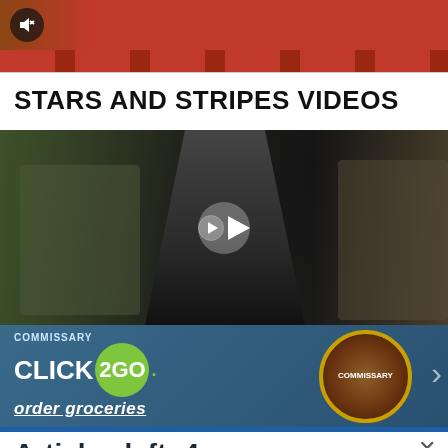[Figure (photo): Top cropped image showing a red running track with a mute icon button in upper left corner]
STARS AND STRIPES VIDEOS
[Figure (photo): Video thumbnail showing military soldiers near an aircraft, with a play button overlay in the center]
[Figure (photo): Advertisement banner for Commissary Click2Go grocery ordering service with Commissary logo]
Articles left: 4
Subscribe to get unlimited access  Subscribe
Already have an account?  Login here